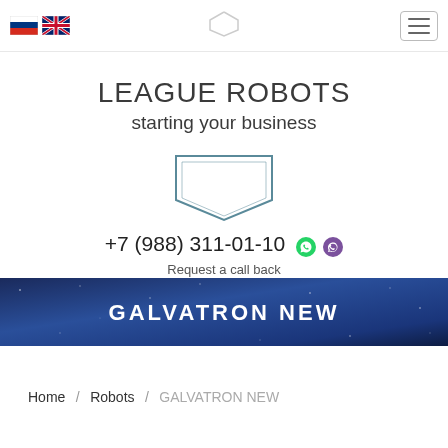League Robots — navigation bar with language flags and hamburger menu
LEAGUE ROBOTS
starting your business
[Figure (illustration): Shield or badge outline shape — decorative logo element]
+7 (988) 311-01-10
Request a call back
[Figure (infographic): Dark blue banner with stars background and white bold text: GALVATRON NEW]
Home / Robots / GALVATRON NEW